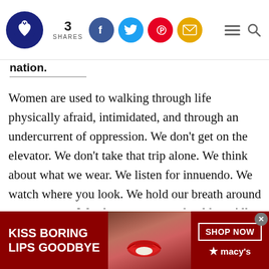3 SHARES [social share icons: Facebook, Twitter, Pinterest, Email] [hamburger menu] [search]
nation.
Women are used to walking through life physically afraid, intimidated, and through an undercurrent of oppression. We don't get on the elevator. We don't take that trip alone. We think about what we wear. We listen for innuendo. We watch where you look. We hold our breath around every corner. We glance over our shoulders. All of this while we complete everyday mundane tasks
[Figure (infographic): Macy's advertisement banner: dark red background with 'KISS BORING LIPS GOODBYE' text on left, photo of woman's face with red lipstick in center, 'SHOP NOW' button and Macy's star logo on right]